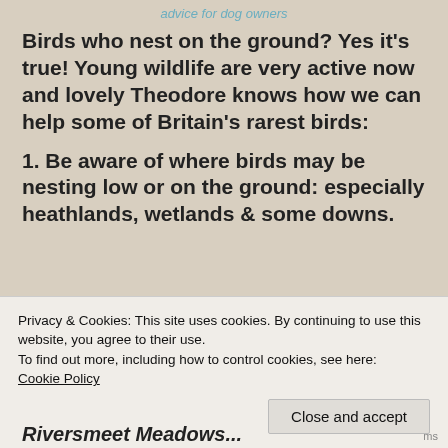advice for dog owners
Birds who nest on the ground? Yes it’s true! Young wildlife are very active now and lovely Theodore knows how we can help some of Britain’s rarest birds:
1. Be aware of where birds may be nesting low or on the ground: especially heathlands, wetlands & some downs.
Privacy & Cookies: This site uses cookies. By continuing to use this website, you agree to their use.
To find out more, including how to control cookies, see here: Cookie Policy
Riversmeet Meadows...